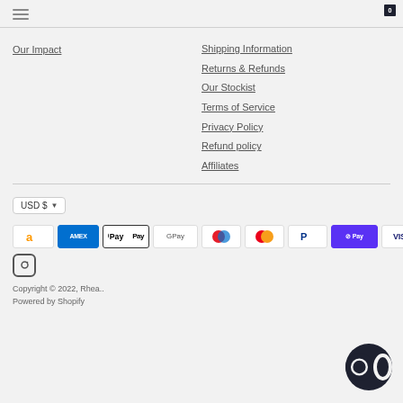Navigation menu header with hamburger icon and cart with 0 items
Our Impact
Shipping Information
Returns & Refunds
Our Stockist
Terms of Service
Privacy Policy
Refund policy
Affiliates
USD $
[Figure (logo): Payment method icons: Amazon, Amex, Apple Pay, Google Pay, Maestro, Mastercard, PayPal, Shop Pay, Visa]
[Figure (logo): Instagram icon]
Copyright © 2022, Rhea.. Powered by Shopify